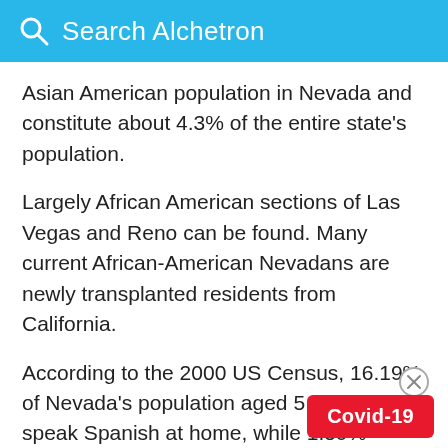Search Alchetron
Asian American population in Nevada and constitute about 4.3% of the entire state's population.
Largely African American sections of Las Vegas and Reno can be found. Many current African-American Nevadans are newly transplanted residents from California.
According to the 2000 US Census, 16.19% of Nevada's population aged 5 and older speak Spanish at home, while 1.59% speak Filipino, and 1% speak Chinese.
Covid-19